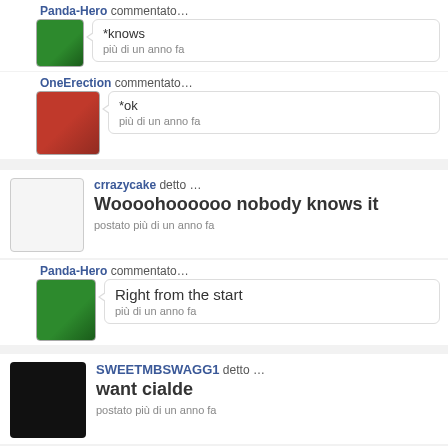Panda-Hero commentato…
*knows
più di un anno fa
OneErection commentato…
*ok
più di un anno fa
crrazycake detto … Woooohoooo nobody knows it
postato più di un anno fa
Panda-Hero commentato…
Right from the start
più di un anno fa
SWEETMBSWAGG1 detto … want cialde
postato più di un anno fa
OneErection commentato…
thank te for the information fanpop user sweetmbswagg1